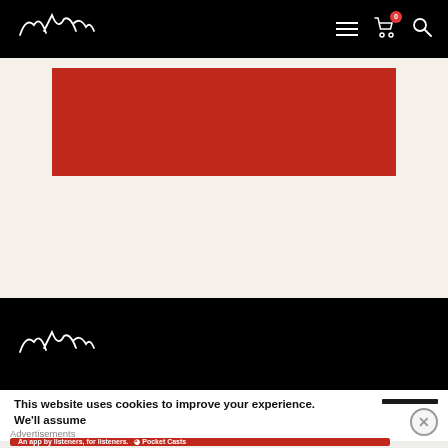Aand (logo) | Navigation (hamburger, cart 0, search)
[Figure (other): Red banner/hero image area on white/cream background]
[Figure (logo): Aand cursive logo in white on black footer bar]
This website uses cookies to improve your experience. We'll assume
Advertisements
[Figure (other): Pocket Casts advertisement: 'An app by listeners, for listeners.' on red background with phone image and Pocket Casts logo]